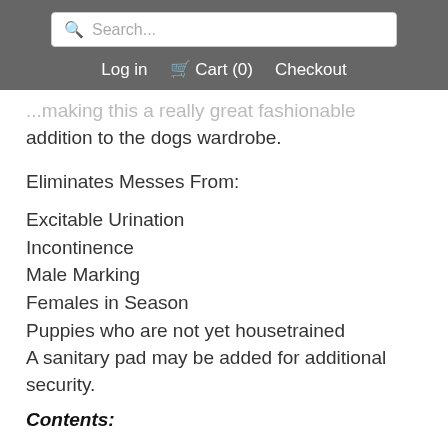Search... | Log in | Cart (0) | Checkout
addition to the dogs wardrobe.
Eliminates Messes From:
Excitable Urination
Incontinence
Male Marking
Females in Season
Puppies who are not yet housetrained
A sanitary pad may be added for additional security.
Contents: